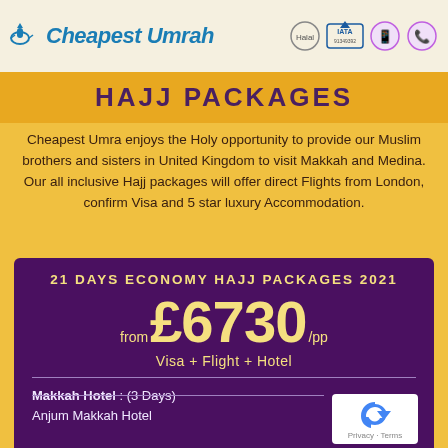[Figure (logo): Cheapest Umrah logo with plane/mosque icon in blue and italic text]
[Figure (logo): Halal certification, IATA logo, WhatsApp icon, and phone icon in header]
HAJJ PACKAGES
Cheapest Umra enjoys the Holy opportunity to provide our Muslim brothers and sisters in United Kingdom to visit Makkah and Medina. Our all inclusive Hajj packages will offer direct Flights from London, confirm Visa and 5 star luxury Accommodation.
21 DAYS ECONOMY HAJJ PACKAGES 2021
from £6730 /pp
Visa + Flight + Hotel
Makkah Hotel : (3 Days)
Anjum Makkah Hotel